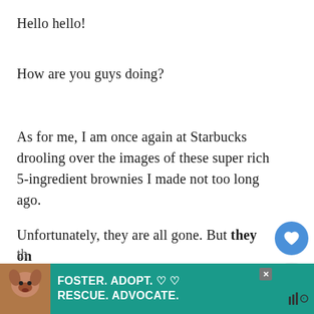Hello hello!
How are you guys doing?
As for me, I am once again at Starbucks drooling over the images of these super rich 5-ingredient brownies I made not too long ago.
Unfortunately, they are all gone. But they only needed 5 ingredients and come together in less than an hour. So I can literally make th
[Figure (screenshot): Advertisement banner: FOSTER. ADOPT. RESCUE. ADVOCATE. with dog image]
[Figure (other): UI overlay buttons: heart/like button (blue circle) and share button (grey circle)]